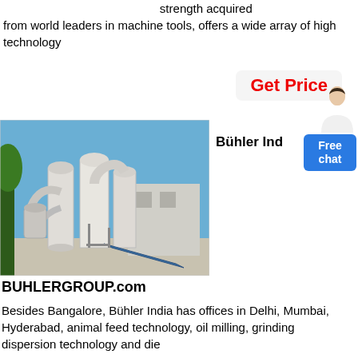strength acquired from world leaders in machine tools, offers a wide array of high technology
Get Price
Bühler Ind
Free chat
[Figure (photo): Industrial milling/grinding facility with large white cylindrical processing equipment, ductwork, and a blue conveyor belt, under a clear blue sky.]
BUHLERGROUP.com
Besides Bangalore, Bühler India has offices in Delhi, Mumbai, Hyderabad, animal feed technology, oil milling, grinding dispersion technology and die